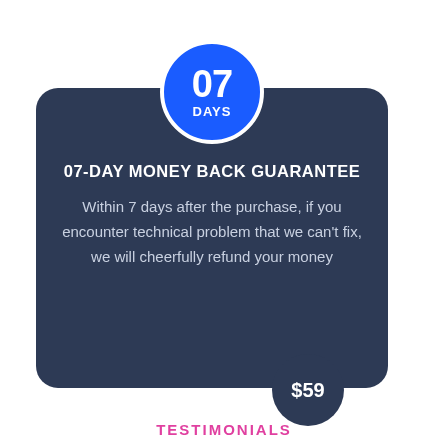[Figure (infographic): Blue circle badge with '07' in large bold white text and 'DAYS' below, positioned at top center of dark navy card]
07-DAY MONEY BACK GUARANTEE
Within 7 days after the purchase, if you encounter technical problem that we can't fix, we will cheerfully refund your money
[Figure (infographic): Dark navy circle badge with '$59' in white bold text, positioned at bottom right of card]
TESTIMONIALS